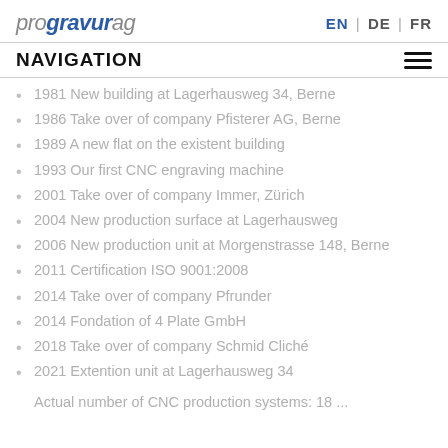progravurag   EN | DE | FR
NAVIGATION
1981  New building at Lagerhausweg 34, Berne
1986  Take over of company Pfisterer AG, Berne
1989  A new flat on the existent building
1993  Our first CNC engraving machine
2001  Take over of company Immer, Zürich
2004  New production surface at Lagerhausweg
2006  New production unit at Morgenstrasse 148, Berne
2011  Certification ISO 9001:2008
2014  Take over of company Pfrunder
2014  Fondation of 4 Plate GmbH
2018  Take over of company Schmid Cliché
2021  Extention unit at Lagerhausweg 34
Actual number of CNC production systems: 18 ...